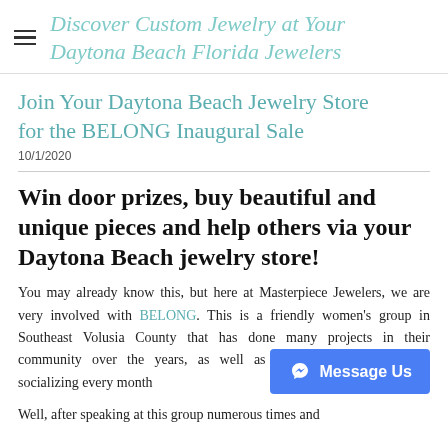Discover Custom Jewelry at Your Daytona Beach Florida Jewelers
Join Your Daytona Beach Jewelry Store for the BELONG Inaugural Sale
10/1/2020
Win door prizes, buy beautiful and unique pieces and help others via your Daytona Beach jewelry store!
You may already know this, but here at Masterpiece Jewelers, we are very involved with BELONG. This is a friendly women's group in Southeast Volusia County that has done many projects in their community over the years, as well as providing fellowship and socializing every month
Well, after speaking at this group numerous times and